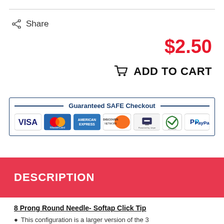Share
$2.50
ADD TO CART
[Figure (infographic): Guaranteed SAFE Checkout banner with payment icons: VISA, MasterCard, American Express, Discover Network, Stripe, SSL secure, PayPal]
DESCRIPTION
8 Prong Round Needle- Softap Click Tip
This configuration is a larger version of the 3